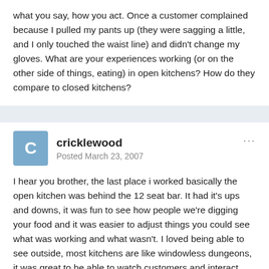what you say, how you act. Once a customer complained because I pulled my pants up (they were sagging a little, and I only touched the waist line) and didn't change my gloves. What are your experiences working (or on the other side of things, eating) in open kitchens? How do they compare to closed kitchens?
cricklewood
Posted March 23, 2007
I hear you brother, the last place i worked basically the open kitchen was behind the 12 seat bar. It had it's ups and downs, it was fun to see how people we're digging your food and it was easier to adjust things you could see what was working and what wasn't. I loved being able to see outside, most kitchens are like windowless dungeons, it was great to be able to watch customers and interact with service staff, we became a tight unit because we rerally worked closely with them. When you work out in the open it forces you to rethink the way you work (at least it did for me). You have to work clean, no swearing, no eating in